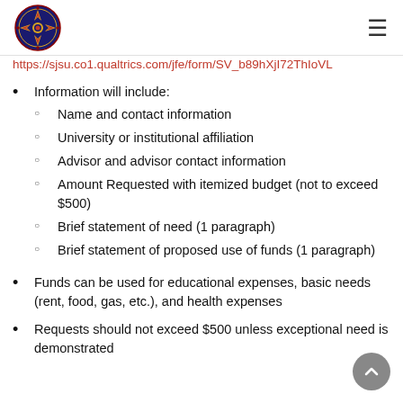SJSU logo and navigation menu
https://sjsu.co1.qualtrics.com/jfe/form/SV_b89hXjI72ThIoVL
Information will include:
Name and contact information
University or institutional affiliation
Advisor and advisor contact information
Amount Requested with itemized budget (not to exceed $500)
Brief statement of need (1 paragraph)
Brief statement of proposed use of funds (1 paragraph)
Funds can be used for educational expenses, basic needs (rent, food, gas, etc.), and health expenses
Requests should not exceed $500 unless exceptional need is demonstrated